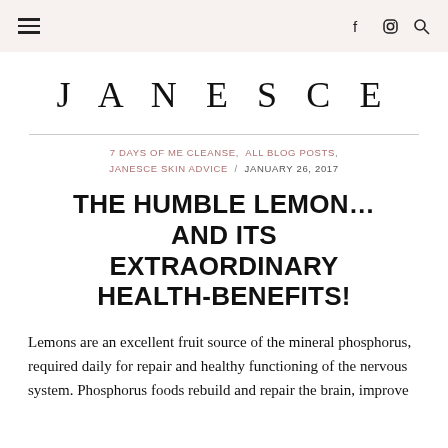≡  f  ⊕  🔍
JANESCE
7 DAYS OF ME CLEANSE, ALL BLOG POSTS, JANESCE SKIN ADVICE / JANUARY 26, 2017
THE HUMBLE LEMON… AND ITS EXTRAORDINARY HEALTH-BENEFITS!
Lemons are an excellent fruit source of the mineral phosphorus, required daily for repair and healthy functioning of the nervous system. Phosphorus foods rebuild and repair the brain, improve